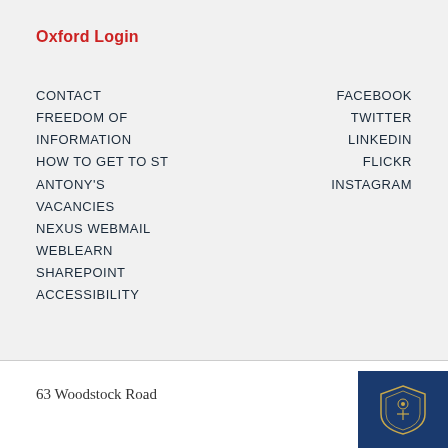Oxford Login
CONTACT
FREEDOM OF INFORMATION
HOW TO GET TO ST ANTONY'S
VACANCIES
NEXUS WEBMAIL
WEBLEARN
SHAREPOINT
ACCESSIBILITY
FACEBOOK
TWITTER
LINKEDIN
FLICKR
INSTAGRAM
63 Woodstock Road
[Figure (logo): Oxford University college crest/shield logo on dark navy blue background]